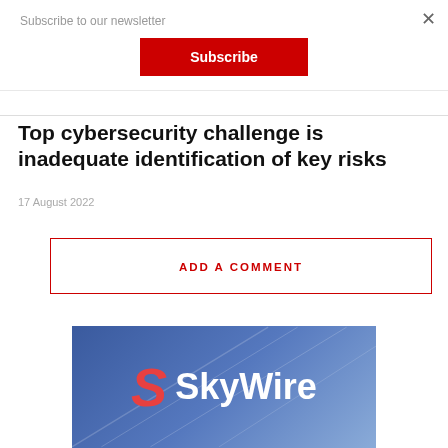Subscribe to our newsletter
Subscribe
Top cybersecurity challenge is inadequate identification of key risks
17 August 2022
ADD A COMMENT
[Figure (logo): SkyWire logo on blue gradient background with orange/red S letter icon and white SkyWire text]